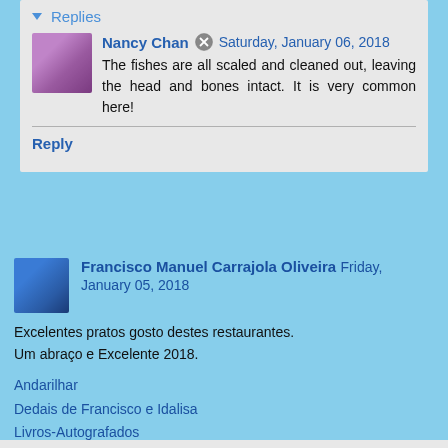Replies
Nancy Chan  Saturday, January 06, 2018
The fishes are all scaled and cleaned out, leaving the head and bones intact. It is very common here!
Reply
Francisco Manuel Carrajola Oliveira  Friday, January 05, 2018
Excelentes pratos gosto destes restaurantes.
Um abraço e Excelente 2018.
Andarilhar
Dedais de Francisco e Idalisa
Livros-Autografados
Reply